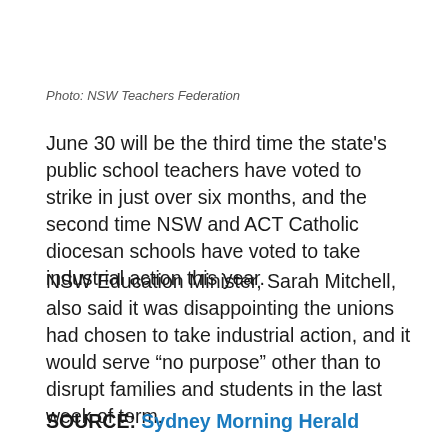Photo: NSW Teachers Federation
June 30 will be the third time the state's public school teachers have voted to strike in just over six months, and the second time NSW and ACT Catholic diocesan schools have voted to take industrial action this year.
NSW Education Minister, Sarah Mitchell, also said it was disappointing the unions had chosen to take industrial action, and it would serve “no purpose” other than to disrupt families and students in the last week of term.
SOURCE: Sydney Morning Herald